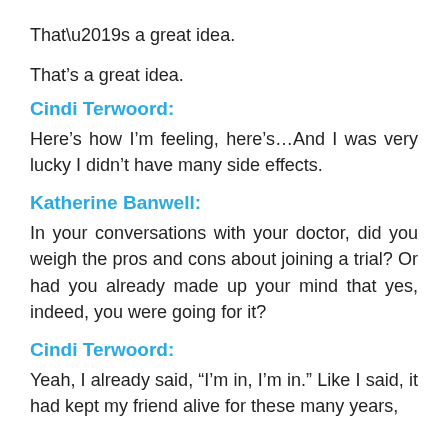That’s a great idea.
Cindi Terwoord:
Here’s how I’m feeling, here’s…And I was very lucky I didn’t have many side effects.
Katherine Banwell:
In your conversations with your doctor, did you weigh the pros and cons about joining a trial? Or had you already made up your mind that yes, indeed, you were going for it?
Cindi Terwoord:
Yeah, I already said, “I’m in, I’m in.” Like I said, it had kept my friend alive for these many years,